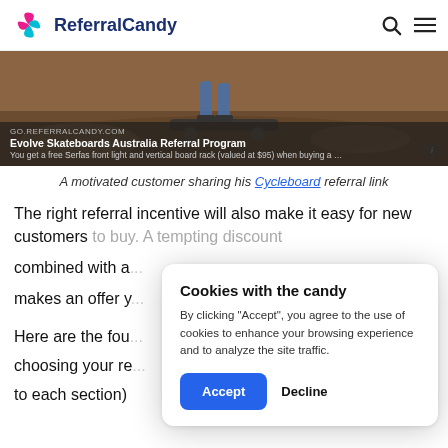ReferralCandy
[Figure (screenshot): Photo of electric skateboard riding on dirt with overlay text: GO.REFERRALCANDY.COM | Evolve Skateboards Australia Referral Program | You get a free Serfas front light and vertical board rack (valued at $95) when buying a ...]
A motivated customer sharing his Cycleboard referral link
The right referral incentive will also make it easy for new customers to buy. A tempting discount combined with a... makes an offer y...
Here are the fou... choosing your re... to each section)
[Figure (screenshot): Cookie consent modal: 'Cookies with the candy' — By clicking "Accept", you agree to the use of cookies to enhance your browsing experience and to analyze the site traffic. Buttons: Accept, Decline]